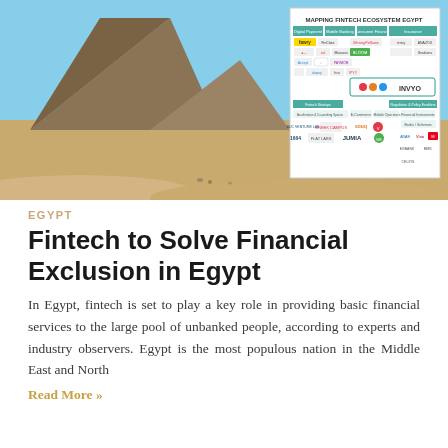[Figure (infographic): Hero image with Egyptian pyramids on the left and a 'Mapping Fintech Ecosystem Egypt' diagram on the right showing various fintech companies and categories including Digital Payments, Mobile Banking, Consumer Finance, Insurance, Fintech Startups, E-commerce, Mobile Operators, Financial Institutions, Banks, and Schemes.]
EGYPT
Fintech to Solve Financial Exclusion in Egypt
In Egypt, fintech is set to play a key role in providing basic financial services to the large pool of unbanked people, according to experts and industry observers. Egypt is the most populous nation in the Middle East and North
Read More »